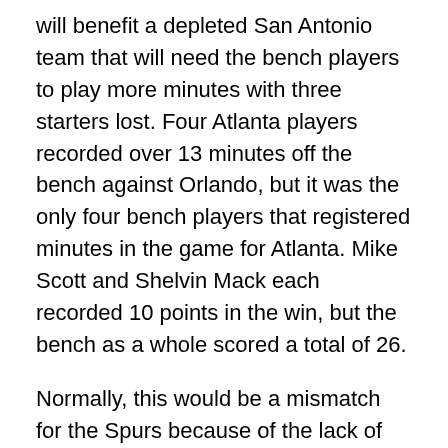will benefit a depleted San Antonio team that will need the bench players to play more minutes with three starters lost. Four Atlanta players recorded over 13 minutes off the bench against Orlando, but it was the only four bench players that registered minutes in the game for Atlanta. Mike Scott and Shelvin Mack each recorded 10 points in the win, but the bench as a whole scored a total of 26.
Normally, this would be a mismatch for the Spurs because of the lack of bench owned by the Hawks. That all changes due to three injuries to starters, however, the Spurs do have the advantage of being used to playing without a full lineup during the regular season. San Antonio's offense has been fine, but the Spurs must slow down the early offense from the Hawks to win this game on the road.